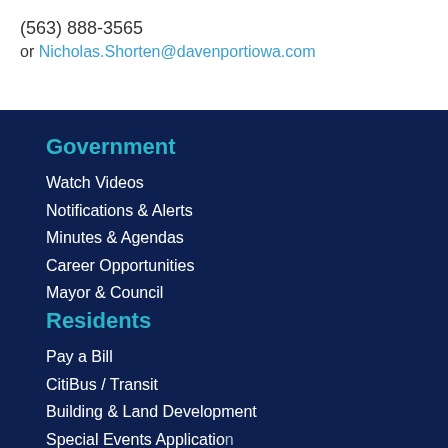(563) 888-3565
or Nicholas.Shorten@davenportiowa.com
Government
Watch Videos
Notifications & Alerts
Minutes & Agendas
Career Opportunities
Mayor & Council
Residents
Pay a Bill
CitiBus / Transit
Building & Land Development
Special Events Application